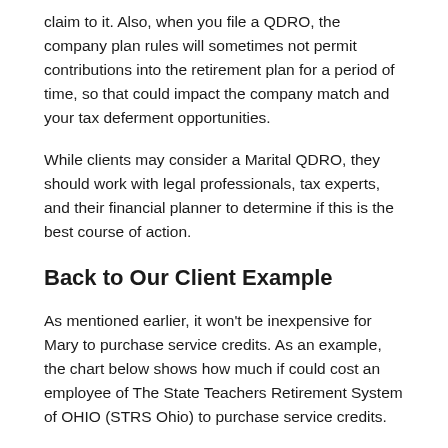claim to it. Also, when you file a QDRO, the company plan rules will sometimes not permit contributions into the retirement plan for a period of time, so that could impact the company match and your tax deferment opportunities.
While clients may consider a Marital QDRO, they should work with legal professionals, tax experts, and their financial planner to determine if this is the best course of action.
Back to Our Client Example
As mentioned earlier, it won't be inexpensive for Mary to purchase service credits. As an example, the chart below shows how much if could cost an employee of The State Teachers Retirement System of OHIO (STRS Ohio) to purchase service credits.